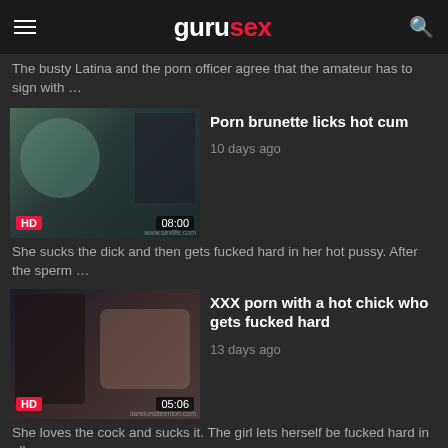gurusex
The busty Latina and the porn officer agree that the amateur has to sign with …
[Figure (screenshot): Video thumbnail for 'Porn brunette licks hot cum' with HD badge and 08:00 duration]
Porn brunette licks hot cum
10 days ago
She sucks the dick and then gets fucked hard in her hot pussy. After the sperm …
[Figure (screenshot): Video thumbnail for 'XXX porn with a hot chick who gets fucked hard' with HD badge and 05:06 duration]
XXX porn with a hot chick who gets fucked hard
13 days ago
She loves the cock and sucks it. The girl lets herself be fucked hard in all …
Porn xxx with two hot babys